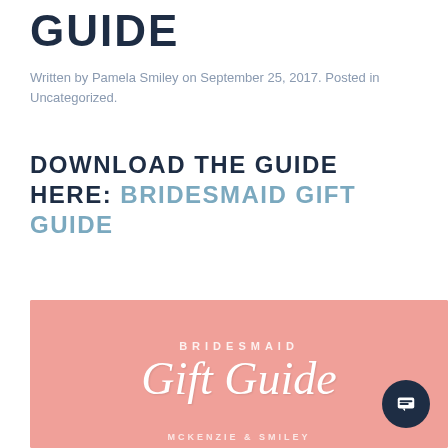GUIDE
Written by Pamela Smiley on September 25, 2017. Posted in Uncategorized.
DOWNLOAD THE GUIDE HERE: BRIDESMAID GIFT GUIDE
[Figure (illustration): Pink book cover for Bridesmaid Gift Guide by McKenzie & Smiley, showing script 'Gift Guide' text on salmon/pink background with BRIDESMAID text above and McKenzie & Smiley at the bottom.]